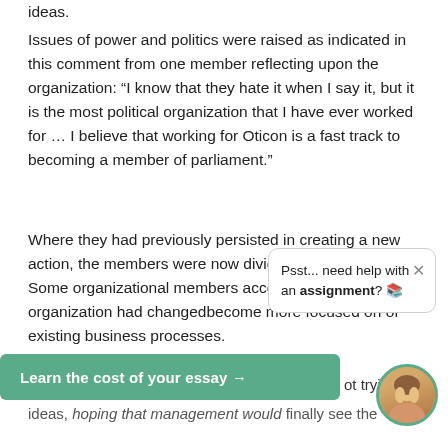ideas.
Issues of power and politics were raised as indicated in this comment from one member reflecting upon the organization: “I know that they hate it when I say it, but it is the most political organization that I have ever worked for … I believe that working for Oticon is a fast track to becoming a member of parliament.”
Where they had previously persisted in creating a new action, the members were now divided in their actions. Some organizational members accepted that the organization had changed [partially obscured] become more focused on [partially obscured] of existing business processes.
Psst... need help with an assignment? 📚
ot trying out n[ew] ideas, hoping that management would finally see the